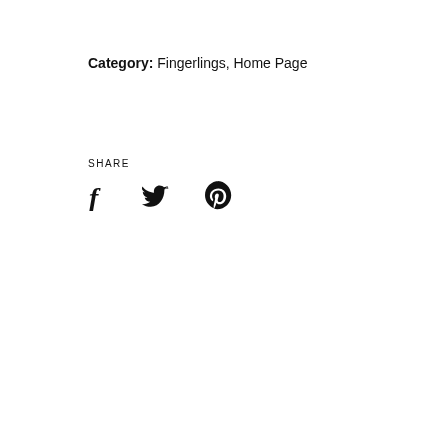Category: Fingerlings, Home Page
SHARE
[Figure (other): Social share icons: Facebook (f), Twitter (bird), Pinterest (p)]